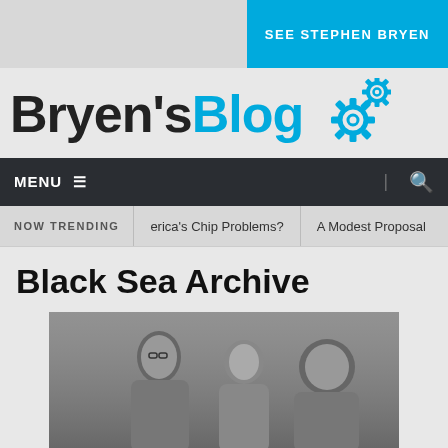SEE STEPHEN BRYEN
Bryen's Blog
MENU
NOW TRENDING   erica's Chip Problems?   A Modest Proposal
Black Sea Archive
[Figure (photo): Black and white photograph of three men smiling and talking outdoors, likely from mid-20th century]